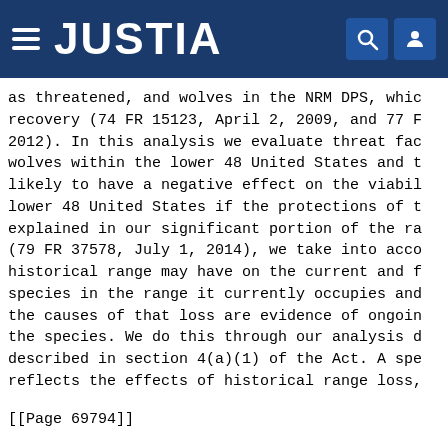JUSTIA
as threatened, and wolves in the NRM DPS, whic
recovery (74 FR 15123, April 2, 2009, and 77 F
2012). In this analysis we evaluate threat fac
wolves within the lower 48 United States and t
likely to have a negative effect on the viabil
lower 48 United States if the protections of t
explained in our significant portion of the ra
(79 FR 37578, July 1, 2014), we take into acco
historical range may have on the current and f
species in the range it currently occupies and
the causes of that loss are evidence of ongoing
the species. We do this through our analysis d
described in section 4(a)(1) of the Act. A spe
reflects the effects of historical range loss,
[[Page 69794]]